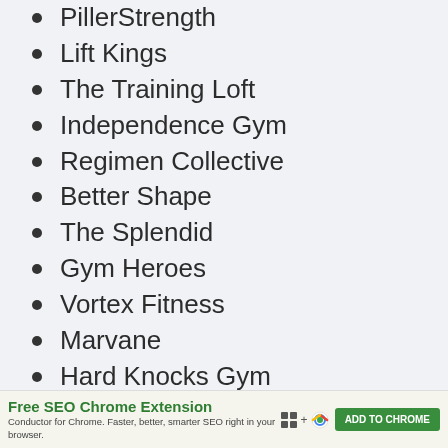PillerStrength
Lift Kings
The Training Loft
Independence Gym
Regimen Collective
Better Shape
The Splendid
Gym Heroes
Vortex Fitness
Marvane
Hard Knocks Gym
Republic Fitness
Racedot
[Figure (screenshot): Advertisement banner: Free SEO Chrome Extension by Conductor. Shows ADD TO CHROME button.]